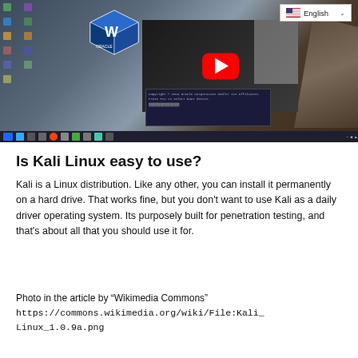[Figure (screenshot): Screenshot of a Windows desktop with VirtualBox logo visible, a YouTube video thumbnail overlay with red play button, an English language selector dropdown in the top-right, and a BIOS-style boot screen in the lower-center. Desktop taskbar visible at bottom.]
Is Kali Linux easy to use?
Kali is a Linux distribution. Like any other, you can install it permanently on a hard drive. That works fine, but you don't want to use Kali as a daily driver operating system. Its purposely built for penetration testing, and that's about all that you should use it for.
Photo in the article by “Wikimedia Commons” https://commons.wikimedia.org/wiki/File:Kali_Linux_1.0.9a.png